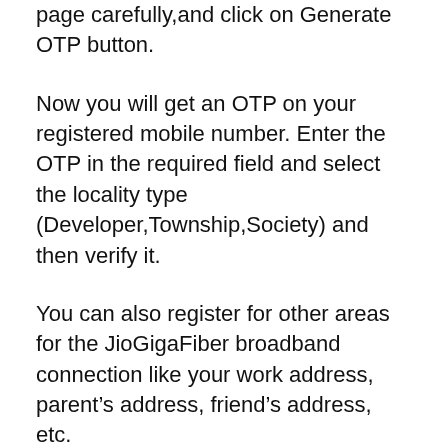page carefully,and click on Generate OTP button.
Now you will get an OTP on your registered mobile number. Enter the OTP in the required field and select the locality type (Developer,Township,Society) and then verify it.
You can also register for other areas for the JioGigaFiber broadband connection like your work address, parent's address, friend's address, etc.
JIO FIBER INSTALLATION CHARGES IN RAMGANJ